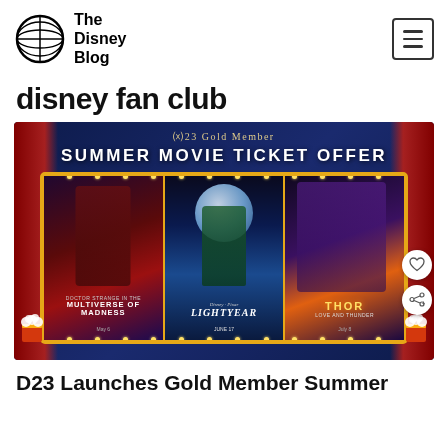[Figure (logo): The Disney Blog globe logo with text 'The Disney Blog']
disney fan club
[Figure (photo): D23 Gold Member Summer Movie Ticket Offer promotional image featuring movie posters for Doctor Strange in the Multiverse of Madness, Lightyear, and Thor: Love and Thunder, displayed in a theater-style gold frame with light bulbs, against a dark blue background with red curtains]
D23 Launches Gold Member Summer